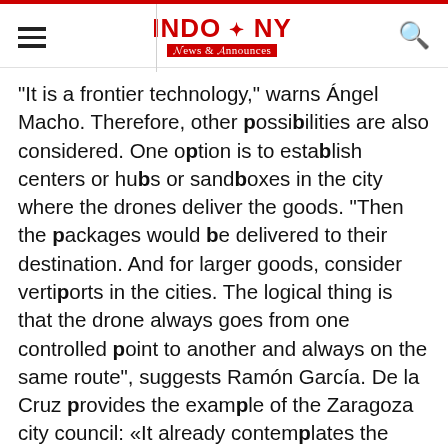INDO & NY News & Announces
"It is a frontier technology," warns Ángel Macho. Therefore, other possibilities are also considered. One option is to establish centers or hubs or sandboxes in the city where the drones deliver the goods. "Then the packages would be delivered to their destination. And for larger goods, consider vertiports in the cities. The logical thing is that the drone always goes from one controlled point to another and always on the same route", suggests Ramón García. De la Cruz provides the example of the Zaragoza city council: «It already contemplates the distribution of drones under specific conditions. In this case, the packages will be transported to empty premises that will act as lockers.